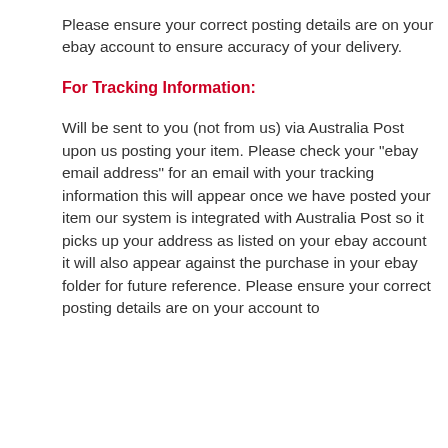Please ensure your correct posting details are on your ebay account to ensure accuracy of your delivery.
For Tracking Information:
Will be sent to you (not from us) via Australia Post upon us posting your item. Please check your "ebay email address" for an email with your tracking information this will appear once we have posted your item our system is integrated with Australia Post so it picks up your address as listed on your ebay account it will also appear against the purchase in your ebay folder for future reference. Please ensure your correct posting details are on your account to